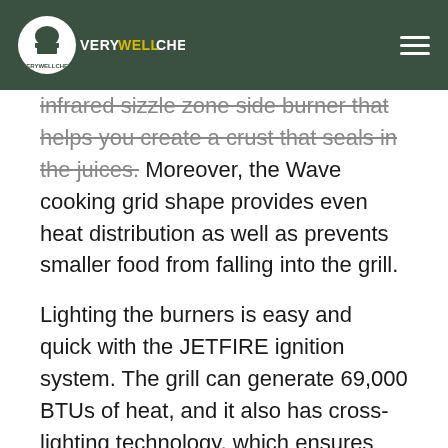VERYWELLCHEF
infrared sizzle zone side burner that helps you create a crust that seals in the juices. Moreover, the Wave cooking grid shape provides even heat distribution as well as prevents smaller food from falling into the grill.
Lighting the burners is easy and quick with the JETFIRE ignition system. The grill can generate 69,000 BTUs of heat, and it also has cross-lighting technology, which ensures that if a burner accidentally goes out while lit, it will reignite it automatically. The heat distribution is also even in this grill with the dual-level stainless steel sear plates. And the ACCU-PROBE temperature gauge on the lid